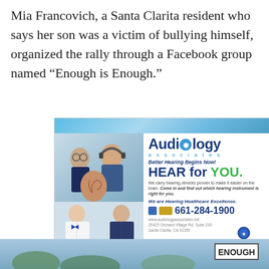Mia Francovich, a Santa Clarita resident who says her son was a victim of bullying himself, organized the rally through a Facebook group named “Enough is Enough.”
[Figure (illustration): Advertisement for Audiology Associates showing two doctors, an ear model, a patient with headphones, logo, phone number 661-284-1900, website www.audiologyassociates.net, address 25425 Orchard Village Rd, Suite 220, Santa Clarita, CA 91355]
[Figure (photo): Bottom portion of a rally photo showing people outdoors with a sign reading ENOUGH]